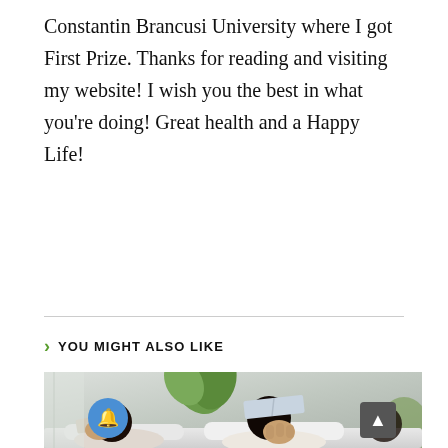Constantin Brancusi University where I got First Prize. Thanks for reading and visiting my website! I wish you the best in what you're doing! Great health and a Happy Life!
> YOU MIGHT ALSO LIKE
[Figure (photo): Two young women laughing and relaxing, one has an open book balanced on her head like a tent, the other is holding a book and covering her mouth while laughing. There is a large green leaf plant in the background.]